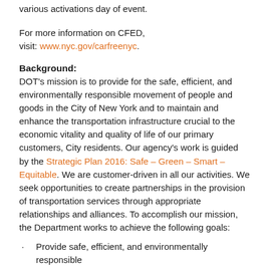various activations day of event.
For more information on CFED, visit: www.nyc.gov/carfreenyc.
Background:
DOT's mission is to provide for the safe, efficient, and environmentally responsible movement of people and goods in the City of New York and to maintain and enhance the transportation infrastructure crucial to the economic vitality and quality of life of our primary customers, City residents. Our agency's work is guided by the Strategic Plan 2016: Safe – Green – Smart – Equitable. We are customer-driven in all our activities. We seek opportunities to create partnerships in the provision of transportation services through appropriate relationships and alliances. To accomplish our mission, the Department works to achieve the following goals:
Provide safe, efficient, and environmentally responsible